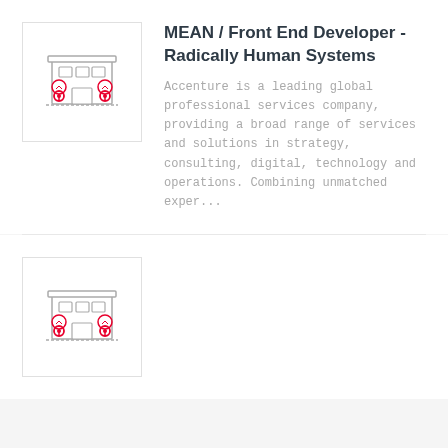[Figure (illustration): Line-art icon of a two-storey office building with two red location-pin trees at the base, inside a light-bordered square box]
MEAN / Front End Developer - Radically Human Systems
Accenture is a leading global professional services company, providing a broad range of services and solutions in strategy, consulting, digital, technology and operations. Combining unmatched exper...
[Figure (illustration): Line-art icon of a two-storey office building with two red location-pin trees at the base, inside a light-bordered square box]